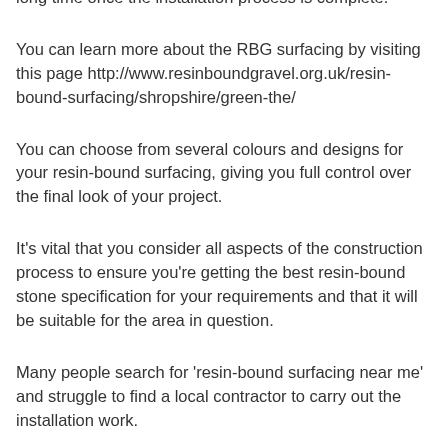Resin gravel flooring creates a smooth and attractive surface for all of these different uses and will last for a long time once the installation process is complete.
You can learn more about the RBG surfacing by visiting this page http://www.resinboundgravel.org.uk/resin-bound-surfacing/shropshire/green-the/
You can choose from several colours and designs for your resin-bound surfacing, giving you full control over the final look of your project.
It's vital that you consider all aspects of the construction process to ensure you're getting the best resin-bound stone specification for your requirements and that it will be suitable for the area in question.
Many people search for 'resin-bound surfacing near me' and struggle to find a local contractor to carry out the installation work.
As a nationwide company, we can have installers nearby or in surrounding areas who can carry out the surfacing works. We will